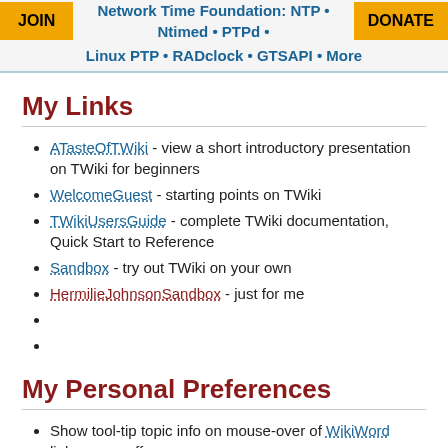JOIN  Network Time Foundation: NTP • Ntimed • PTPd • Linux PTP • RADclock • GTSAPI • More  DONATE
My Links
ATasteOfTWiki - view a short introductory presentation on TWiki for beginners
WelcomeGuest - starting points on TWiki
TWikiUsersGuide - complete TWiki documentation, Quick Start to Reference
Sandbox - try out TWiki on your own
HermilieJohnsonSandbox - just for me
My Personal Preferences
Show tool-tip topic info on mouse-over of WikiWord links, on or off:
Set LINKTOOLTIPINFO = off